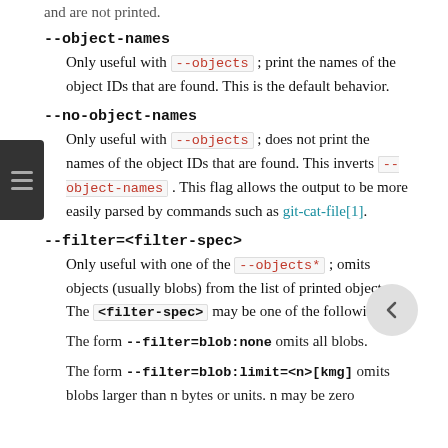and are not printed.
--object-names
Only useful with --objects ; print the names of the object IDs that are found. This is the default behavior.
--no-object-names
Only useful with --objects ; does not print the names of the object IDs that are found. This inverts --object-names . This flag allows the output to be more easily parsed by commands such as git-cat-file[1].
--filter=<filter-spec>
Only useful with one of the --objects* ; omits objects (usually blobs) from the list of printed objects. The <filter-spec> may be one of the following:
The form --filter=blob:none omits all blobs.
The form --filter=blob:limit=<n>[kmg] omits blobs larger than n bytes or units. n may be zero